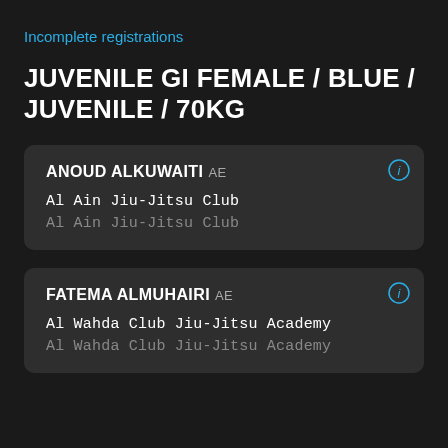Incomplete registrations
JUVENILE GI FEMALE / BLUE / JUVENILE / 70KG
ANOUD ALKUWAITI AE
Al Ain Jiu-Jitsu Club
Al Ain Jiu-Jitsu Club
FATEMA ALMUHAIRI AE
Al Wahda Club Jiu-Jitsu Academy
Al Wahda Club Jiu-Jitsu Academy